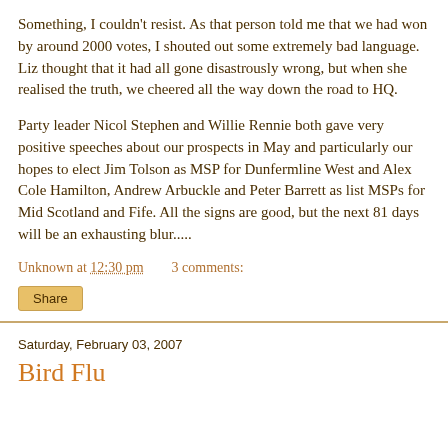Something, I couldn't resist. As that person told me that we had won by around 2000 votes, I shouted out some extremely bad language. Liz thought that it had all gone disastrously wrong, but when she realised the truth, we cheered all the way down the road to HQ.
Party leader Nicol Stephen and Willie Rennie both gave very positive speeches about our prospects in May and particularly our hopes to elect Jim Tolson as MSP for Dunfermline West and Alex Cole Hamilton, Andrew Arbuckle and Peter Barrett as list MSPs for Mid Scotland and Fife. All the signs are good, but the next 81 days will be an exhausting blur.....
Unknown at 12:30 pm   3 comments:
Share
Saturday, February 03, 2007
Bird Flu